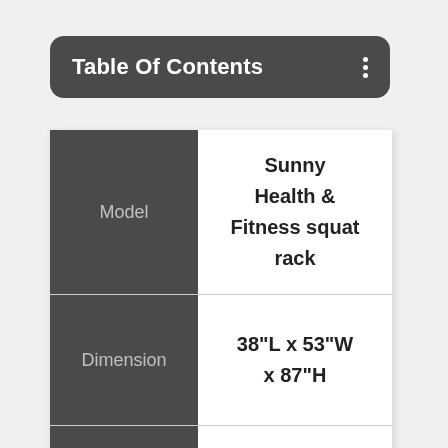Table Of Contents
| Model | Dimension |
| --- | --- |
| Model | Sunny Health & Fitness squat rack |
| Dimension | 38"L x 53"W x 87"H |